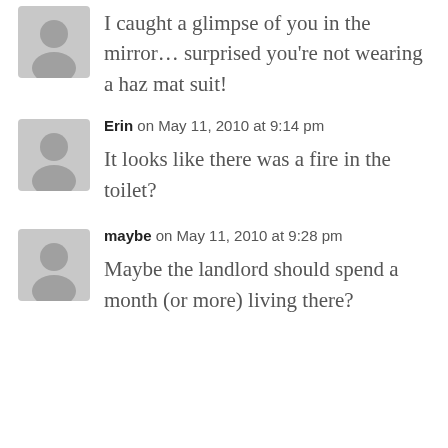I caught a glimpse of you in the mirror… surprised you're not wearing a haz mat suit!
Erin on May 11, 2010 at 9:14 pm
It looks like there was a fire in the toilet?
maybe on May 11, 2010 at 9:28 pm
Maybe the landlord should spend a month (or more) living there?